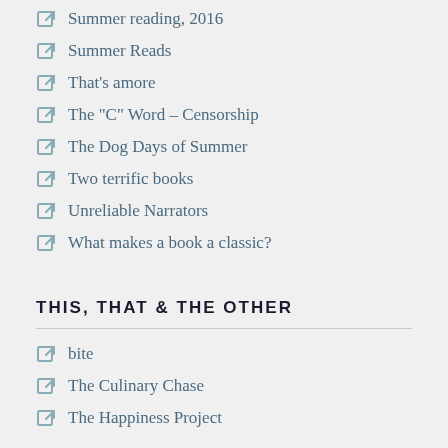Summer reading, 2016
Summer Reads
That's amore
The "C" Word – Censorship
The Dog Days of Summer
Two terrific books
Unreliable Narrators
What makes a book a classic?
THIS, THAT & THE OTHER
bite
The Culinary Chase
The Happiness Project